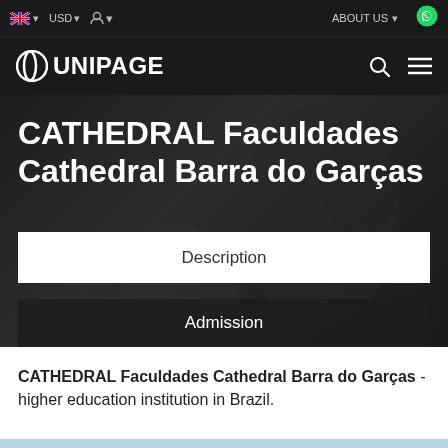UNIPAGE — navigation bar with language selector (UK/USD), About Us, WhatsApp icon
CATHEDRAL Faculdades Cathedral Barra do Garças
Description
Admission
CATHEDRAL Faculdades Cathedral Barra do Garças - higher education institution in Brazil.